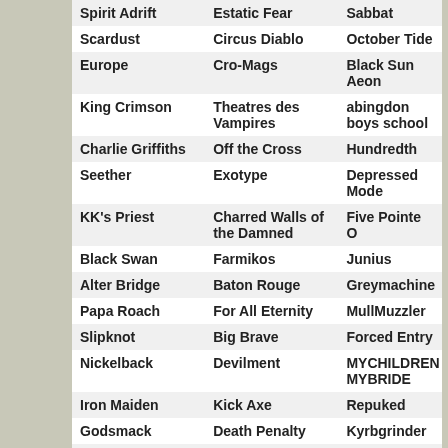| Col1 | Col2 | Col3 |
| --- | --- | --- |
| Spirit Adrift | Estatic Fear | Sabbat |
| Scardust | Circus Diablo | October Tide |
| Europe | Cro-Mags | Black Sun Aeon |
| King Crimson | Theatres des Vampires | abingdon boys school |
| Charlie Griffiths | Off the Cross | Hundredth |
| Seether | Exotype | Depressed Mode |
| KK's Priest | Charred Walls of the Damned | Five Pointe O |
| Black Swan | Farmikos | Junius |
| Alter Bridge | Baton Rouge | Greymachine |
| Papa Roach | For All Eternity | MullMuzzler |
| Slipknot | Big Brave | Forced Entry |
| Nickelback | Devilment | MYCHILDREN MYBRIDE |
| Iron Maiden | Kick Axe | Repuked |
| Godsmack | Death Penalty | Kyrbgrinder |
| Led Zeppelin | Bloodbath | Peste Noire |
| Shinedown |  |  |